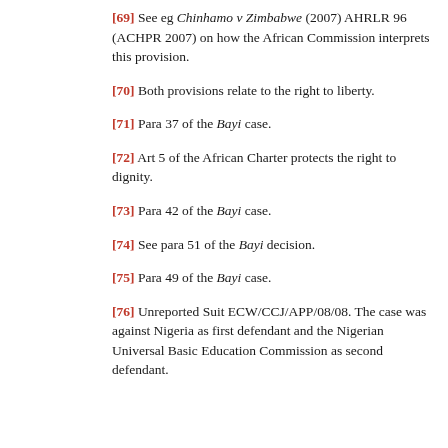[69] See eg Chinhamo v Zimbabwe (2007) AHRLR 96 (ACHPR 2007) on how the African Commission interprets this provision.
[70] Both provisions relate to the right to liberty.
[71] Para 37 of the Bayi case.
[72] Art 5 of the African Charter protects the right to dignity.
[73] Para 42 of the Bayi case.
[74] See para 51 of the Bayi decision.
[75] Para 49 of the Bayi case.
[76] Unreported Suit ECW/CCJ/APP/08/08. The case was against Nigeria as first defendant and the Nigerian Universal Basic Education Commission as second defendant.